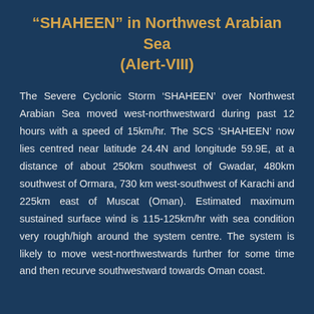“SHAHEEN” in Northwest Arabian Sea (Alert-VIII)
The Severe Cyclonic Storm ‘SHAHEEN’ over Northwest Arabian Sea moved west-northwestward during past 12 hours with a speed of 15km/hr. The SCS ‘SHAHEEN’ now lies centred near latitude 24.4N and longitude 59.9E, at a distance of about 250km southwest of Gwadar, 480km southwest of Ormara, 730 km west-southwest of Karachi and 225km east of Muscat (Oman). Estimated maximum sustained surface wind is 115-125km/hr with sea condition very rough/high around the system centre. The system is likely to move west-northwestwards further for some time and then recurve southwestward towards Oman coast.